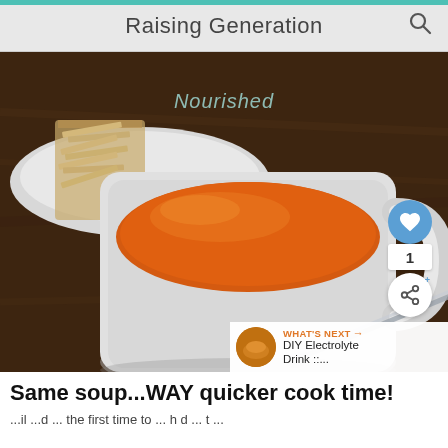Raising Generation
[Figure (photo): A white ceramic mug filled with smooth orange tomato or butternut squash soup, with a metal spoon resting in it. A white dish with whole grain crackers sits beside the mug on a dark wooden surface. The blog watermark 'Nourished' appears overlaid on the image.]
Same soup...WAY quicker cook time!
...il ...d ... th  fi  t ti  t  ...  h  d    t  ...